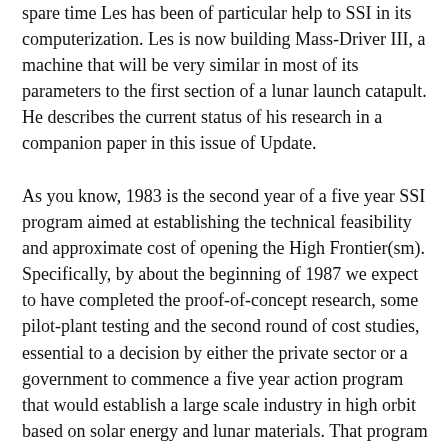spare time Les has been of particular help to SSI in its computerization. Les is now building Mass-Driver III, a machine that will be very similar in most of its parameters to the first section of a lunar launch catapult. He describes the current status of his research in a companion paper in this issue of Update.
As you know, 1983 is the second year of a five year SSI program aimed at establishing the technical feasibility and approximate cost of opening the High Frontier(sm). Specifically, by about the beginning of 1987 we expect to have completed the proof-of-concept research, some pilot-plant testing and the second round of cost studies, essential to a decision by either the private sector or a government to commence a five year action program that would establish a large scale industry in high orbit based on solar energy and lunar materials. That program is going well so far and all the results are positive. Assuming that the present ongoing research of highest priority (the mass-driver catapult and the